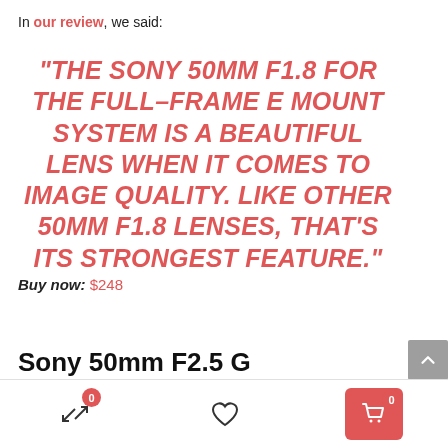In our review, we said:
“THE SONY 50MM F1.8 FOR THE FULL–FRAME E MOUNT SYSTEM IS A BEAUTIFUL LENS WHEN IT COMES TO IMAGE QUALITY. LIKE OTHER 50MM F1.8 LENSES, THAT’S ITS STRONGEST FEATURE.”
Buy now: $248
Sony 50mm F2.5 G
[Figure (screenshot): Bottom navigation bar with shuffle icon (badge 0), heart/wishlist icon, and red cart button (badge 0)]